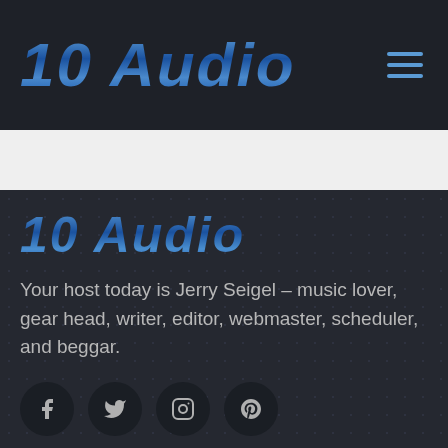10 Audio
[Figure (logo): 10 Audio logo text in bold italic blue gradient style in dark header bar with hamburger menu icon top right]
10 Audio
Your host today is Jerry Seigel – music lover, gear head, writer, editor, webmaster, scheduler, and beggar.
[Figure (infographic): Row of four social media icon circles: Facebook, Twitter/X, Instagram, Pinterest]
EXPLORE